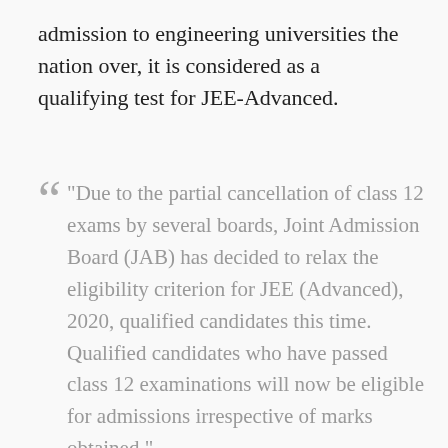admission to engineering universities the nation over, it is considered as a qualifying test for JEE-Advanced.
“Due to the partial cancellation of class 12 exams by several boards, Joint Admission Board (JAB) has decided to relax the eligibility criterion for JEE (Advanced), 2020, qualified candidates this time. Qualified candidates who have passed class 12 examinations will now be eligible for admissions irrespective of marks obtained,”